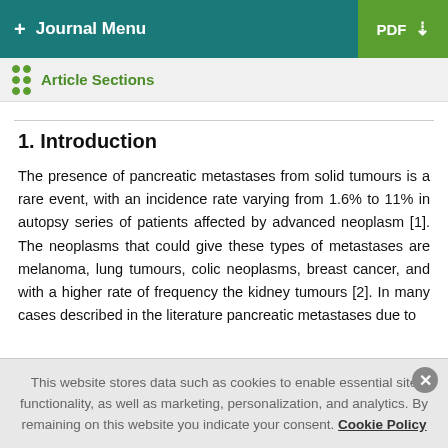+ Journal Menu  PDF ↓
Article Sections
1. Introduction
The presence of pancreatic metastases from solid tumours is a rare event, with an incidence rate varying from 1.6% to 11% in autopsy series of patients affected by advanced neoplasm [1]. The neoplasms that could give these types of metastases are melanoma, lung tumours, colic neoplasms, breast cancer, and with a higher rate of frequency the kidney tumours [2]. In many cases described in the literature pancreatic metastases due to
This website stores data such as cookies to enable essential site functionality, as well as marketing, personalization, and analytics. By remaining on this website you indicate your consent. Cookie Policy